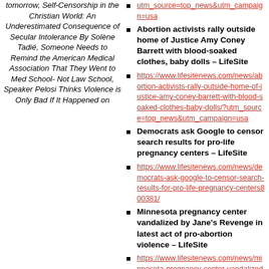tomorrow, Self-Censorship in the Christian World: An Underestimated Consequence of Secular Intolerance By Solène Tadié, Someone Needs to Remind the American Medical Association That They Went to Med School- Not Law School, Speaker Pelosi Thinks Violence is Only Bad If It Happened on
utm_source=top_news&utm_campaign=usa
Abortion activists rally outside home of Justice Amy Coney Barrett with blood-soaked clothes, baby dolls – LifeSite
https://www.lifesitenews.com/news/abortion-activists-rally-outside-home-of-justice-amy-coney-barrett-with-blood-soaked-clothes-baby-dolls/?utm_source=top_news&utm_campaign=usa
Democrats ask Google to censor search results for pro-life pregnancy centers – LifeSite
https://www.lifesitenews.com/news/democrats-ask-google-to-censor-search-results-for-pro-life-pregnancy-centers800381/
Minnesota pregnancy center vandalized by Jane's Revenge in latest act of pro-abortion violence – LifeSite
https://www.lifesitenews.com/news/minnesota-pregnancy-center-vandalized-by-janes-revenge-in-latest-act-of-pro-abortion-violence/